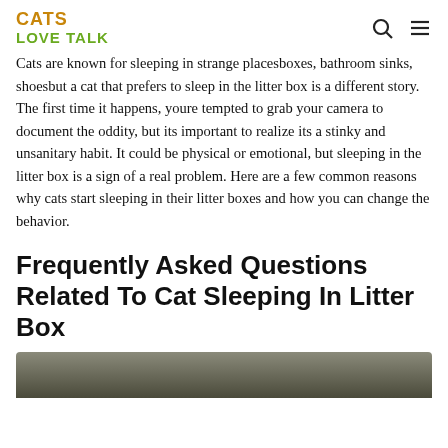CATS LOVE TALK
Cats are known for sleeping in strange placesboxes, bathroom sinks, shoesbut a cat that prefers to sleep in the litter box is a different story. The first time it happens, youre tempted to grab your camera to document the oddity, but its important to realize its a stinky and unsanitary habit. It could be physical or emotional, but sleeping in the litter box is a sign of a real problem. Here are a few common reasons why cats start sleeping in their litter boxes and how you can change the behavior.
Frequently Asked Questions Related To Cat Sleeping In Litter Box
[Figure (photo): Bottom portion of a cat photo, partially visible at the bottom of the page]